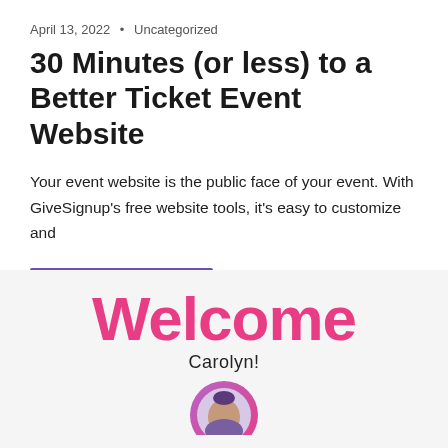April 13, 2022 • Uncategorized
30 Minutes (or less) to a Better Ticket Event Website
Your event website is the public face of your event. With GiveSignup's free website tools, it's easy to customize and
Continue reading »
[Figure (illustration): Welcome banner with 'Welcome' in large pink bold text, 'Carolyn!' in dark text below, and a circular avatar/photo at the bottom center partially cropped]